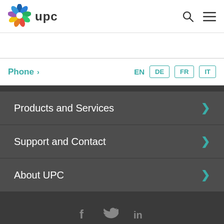[Figure (logo): UPC logo with colorful flower/leaf SVG icon and 'upc' text]
upc
Phone >
EN  DE  FR  IT
Products and Services
Support and Contact
About UPC
[Figure (other): Social media icons: Facebook (f), Twitter (bird), LinkedIn (in)]